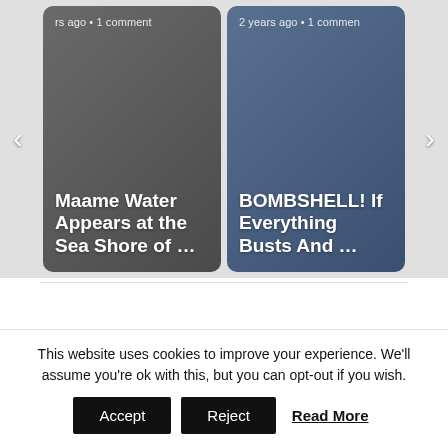[Figure (screenshot): Carousel of two article cards. Left card: text overlay showing 'rs ago • 1 comment' and title 'Maame Water Appears at the Sea Shore of …' on dark gray background. Right card: text overlay showing '2 years ago • 1 comment' and title 'BOMBSHELL! If Everything Busts And …' on blue-gray background. Navigation arrows on left and right sides.]
ADVERTISEMENT
This website uses cookies to improve your experience. We'll assume you're ok with this, but you can opt-out if you wish.
Accept
Reject
Read More